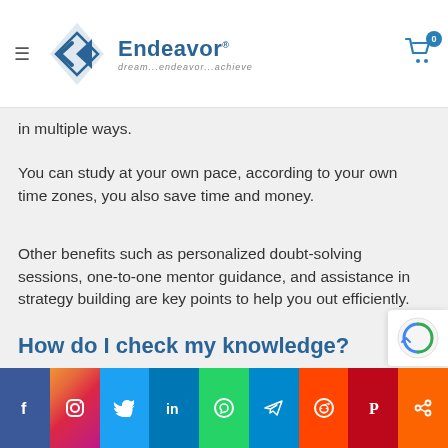Endeavor — dream...endeavor...achieve
in multiple ways.
You can study at your own pace, according to your own time zones, you also save time and money.
Other benefits such as personalized doubt-solving sessions, one-to-one mentor guidance, and assistance in strategy building are key points to help you out efficiently.
How do I check my knowledge?
Social share bar: Facebook, Instagram, Twitter, LinkedIn, WhatsApp, Telegram, Reddit, Pinterest, Share